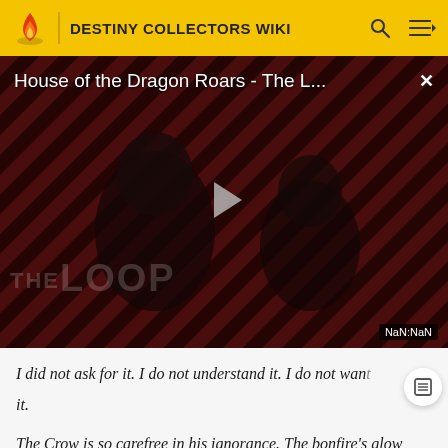DESTINY COLLECTORS WIKI
[Figure (screenshot): Video player showing 'House of the Dragon Roars - The L...' with a play button, diagonal red/black stripes background, two figures in shadow, THE LOOP watermark, and NaN:NaN time display]
I did not ask for it. I do not understand it. I do not want it.
The Crow is so carefree in his ignorance. The bonfire's glow lights up his pale features and I am drawn to the